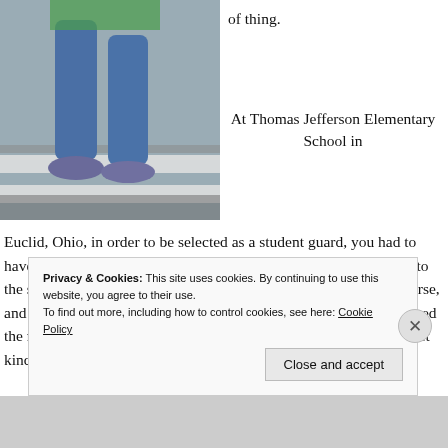[Figure (photo): Child's legs walking across a zebra crossing / crosswalk, wearing blue jeans and sneakers]
of thing.
At Thomas Jefferson Elementary School in Euclid, Ohio, in order to be selected as a student guard, you had to have all A's and B's and be a good, reliable student. I'd transferred to the school in fourth grade, so I didn't get chosen right away, of course, and that was fine. So in fifth grade, I was ready when they announced the names, because I always had good grades and was a teachers' pet kind of gal. But they didn't announce mine.
Privacy & Cookies: This site uses cookies. By continuing to use this website, you agree to their use.
To find out more, including how to control cookies, see here: Cookie Policy
Close and accept